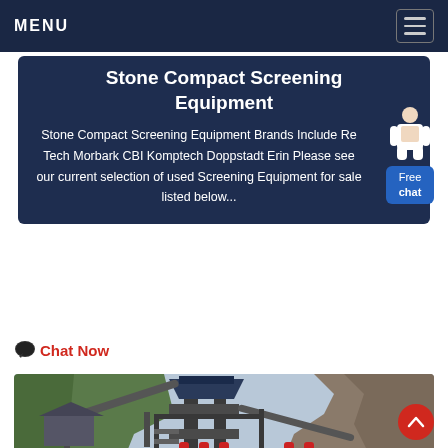MENU
Stone Compact Screening Equipment
Stone Compact Screening Equipment Brands Include Re Tech Morbark CBI Komptech Doppstadt Erin Please see our current selection of used Screening Equipment for sale listed below...
Chat Now
[Figure (photo): Industrial stone compact screening equipment installed outdoors at a quarry site with metal framework, conveyors and red hydraulic components, rocky hillside in background]